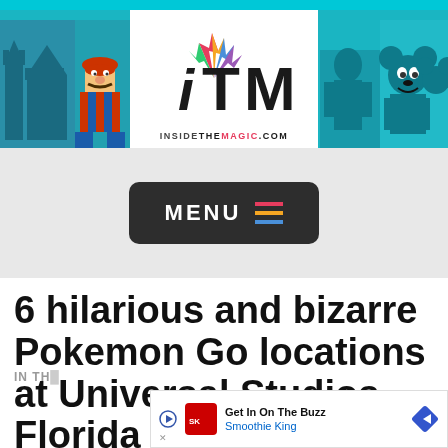[Figure (logo): Inside The Magic (ITM) website header banner with logo, castle and Mario on left, characters on right, teal/cyan background]
[Figure (other): Dark rounded rectangle MENU button with colorful hamburger lines (red, orange, blue) on gray background]
6 hilarious and bizarre Pokemon Go locations at Universal Studios Florida
[Figure (other): Advertisement banner: Get In On The Buzz - Smoothie King]
IN TH...